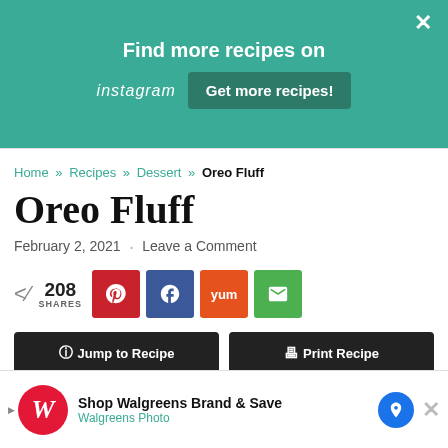Find more recipes on Instagram | Get more recipes!
[Figure (logo): Charisse Yu - Food and Fun Inspiration blog logo]
Home » Recipes » Dessert » Oreo Fluff
Oreo Fluff
February 2, 2021 · Leave a Comment
208 SHARES
Jump to Recipe | Print Recipe
[Figure (screenshot): Walgreens advertisement: Shop Walgreens Brand & Save - Walgreens Photo]